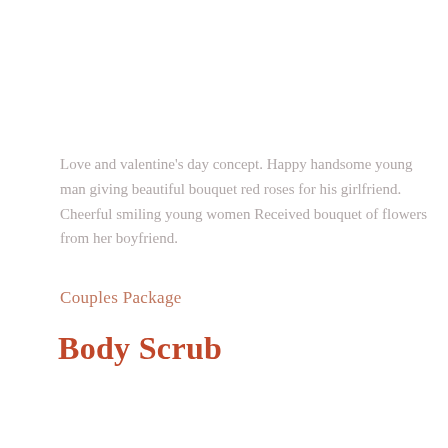Love and valentine's day concept. Happy handsome young man giving beautiful bouquet red roses for his girlfriend. Cheerful smiling young women Received bouquet of flowers from her boyfriend.
Couples Package
Body Scrub